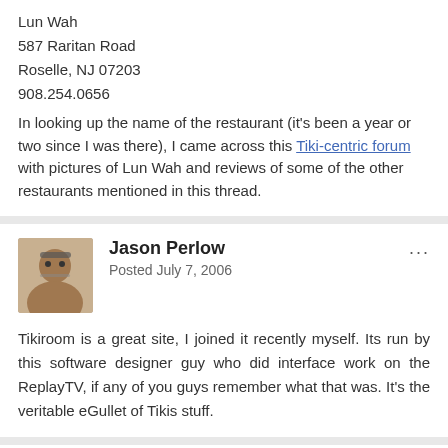Lun Wah
587 Raritan Road
Roselle, NJ 07203
908.254.0656
In looking up the name of the restaurant (it's been a year or two since I was there), I came across this Tiki-centric forum with pictures of Lun Wah and reviews of some of the other restaurants mentioned in this thread.
Jason Perlow
Posted July 7, 2006
Tikiroom is a great site, I joined it recently myself. Its run by this software designer guy who did interface work on the ReplayTV, if any of you guys remember what that was. It's the veritable eGullet of Tikis stuff.
NJ2FLA